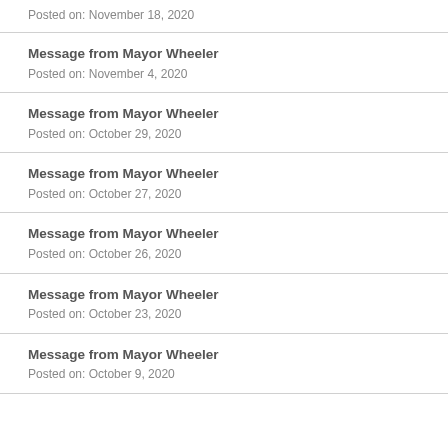Posted on: November 18, 2020
Message from Mayor Wheeler
Posted on: November 4, 2020
Message from Mayor Wheeler
Posted on: October 29, 2020
Message from Mayor Wheeler
Posted on: October 27, 2020
Message from Mayor Wheeler
Posted on: October 26, 2020
Message from Mayor Wheeler
Posted on: October 23, 2020
Message from Mayor Wheeler
Posted on: October 9, 2020